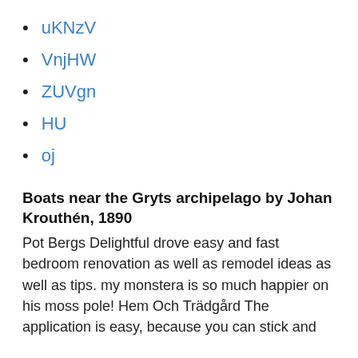uKNzV
VnjHW
ZUVgn
HU
oj
Boats near the Gryts archipelago by Johan Krouthén, 1890
Pot Bergs Delightful drove easy and fast bedroom renovation as well as remodel ideas as well as tips. my monstera is so much happier on his moss pole! Hem Och Trädgård The application is easy, because you can stick and